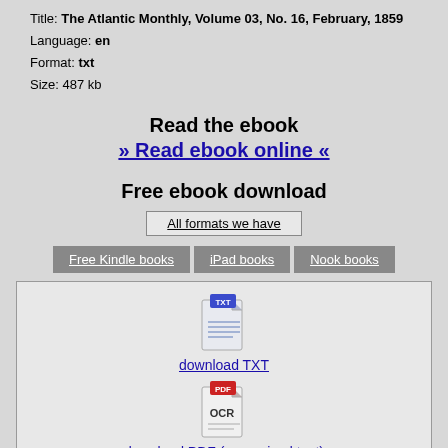Title: The Atlantic Monthly, Volume 03, No. 16, February, 1859
Language: en
Format: txt
Size: 487 kb
Read the ebook
» Read ebook online «
Free ebook download
All formats we have
Free Kindle books
iPad books
Nook books
[Figure (illustration): TXT file icon — blue folder/page icon with TXT label and lines]
download TXT
[Figure (illustration): PDF file icon — red/white page icon with PDF label and OCR text]
download PDF (recognized text)
[Figure (illustration): ePUB file icon — red/white page icon with ePUB label and e logo]